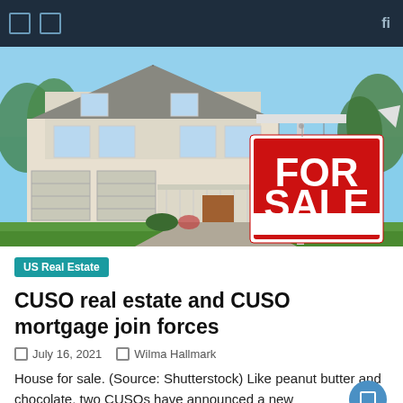Navigation bar with menu icons and search
[Figure (photo): Photograph of a suburban house for sale with a large red 'FOR SALE' sign in the foreground and a two-story white/beige house with garage in the background under blue sky.]
US Real Estate
CUSO real estate and CUSO mortgage join forces
July 16, 2021   Wilma Hallmark
House for sale. (Source: Shutterstock) Like peanut butter and chocolate, two CUSOs have announced a new